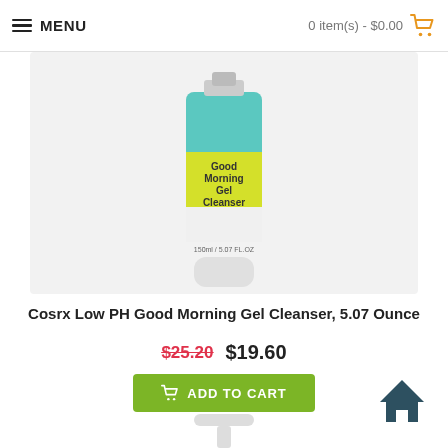MENU | 0 item(s) - $0.00
[Figure (photo): COSRX Low PH Good Morning Gel Cleanser tube product photo, 150ml / 5.07 FL.OZ, shown against light gray background]
Cosrx Low PH Good Morning Gel Cleanser, 5.07 Ounce
$25.20  $19.60
ADD TO CART
[Figure (photo): Partial view of another COSRX product (pump bottle top) at bottom of page]